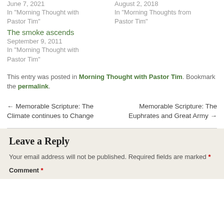June 7, 2021
In "Morning Thought with Pastor Tim"
August 2, 2018
In "Morning Thoughts from Pastor Tim"
The smoke ascends
September 9, 2011
In "Morning Thought with Pastor Tim"
This entry was posted in Morning Thought with Pastor Tim. Bookmark the permalink.
← Memorable Scripture: The Climate continues to Change
Memorable Scripture: The Euphrates and Great Army →
Leave a Reply
Your email address will not be published. Required fields are marked *
Comment *